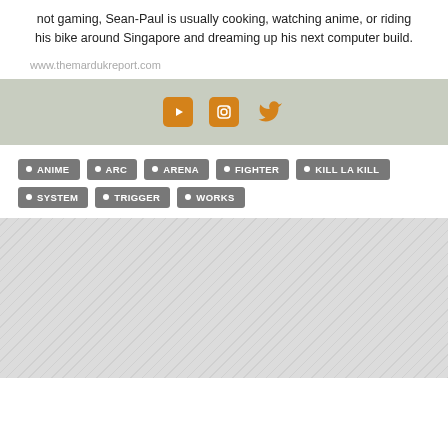not gaming, Sean-Paul is usually cooking, watching anime, or riding his bike around Singapore and dreaming up his next computer build.
www.themardukreport.com
[Figure (illustration): Social media icon bar with YouTube, Instagram, and Twitter icons in orange on a sage/olive green background]
ANIME
ARC
ARENA
FIGHTER
KILL LA KILL
SYSTEM
TRIGGER
WORKS
[Figure (illustration): Diagonal stripe pattern background in light gray]